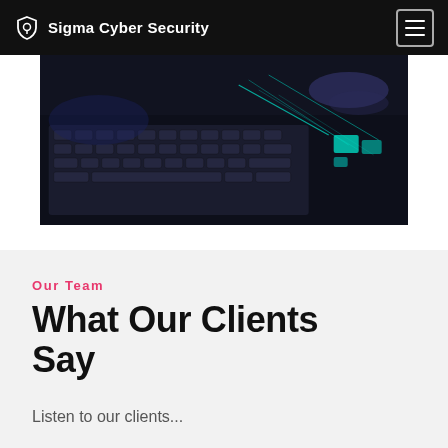Sigma Cyber Security
[Figure (photo): Dark photo of a laptop keyboard with glowing cyan/teal digital lines overlaid, showing a hacking or cybersecurity theme. Hands visible on keyboard in dim blue lighting.]
Our Team
What Our Clients Say
Listen to our clients...